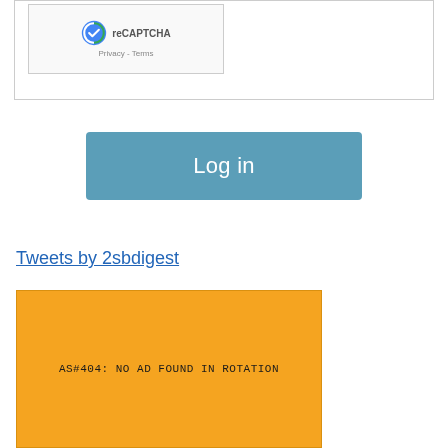[Figure (screenshot): reCAPTCHA widget showing logo, text 'reCAPTCHA', and 'Privacy - Terms' links inside a bordered box]
Log in
Tweets by 2sbdigest
[Figure (screenshot): Orange advertisement placeholder box displaying 'AS#404: NO AD FOUND IN ROTATION' in monospace text]